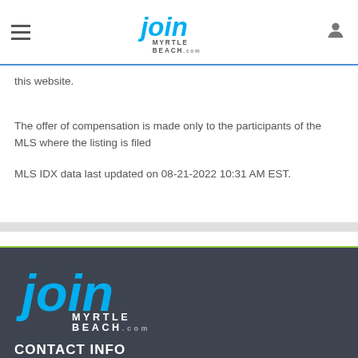joinmyrtlebeach.com header with navigation
this website.
The offer of compensation is made only to the participants of the MLS where the listing is filed
MLS IDX data last updated on 08-21-2022 10:31 AM EST.
[Figure (logo): JoinMyrtleBeach.com logo in footer]
CONTACT INFO
Condo-World